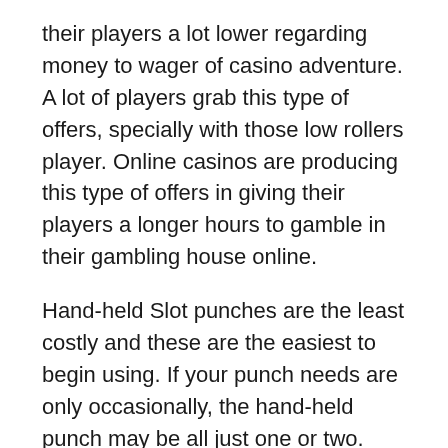their players a lot lower regarding money to wager of casino adventure. A lot of players grab this type of offers, specially with those low rollers player. Online casinos are producing this type of offers in giving their players a longer hours to gamble in their gambling house online.
Hand-held Slot punches are the least costly and these are the easiest to begin using. If your punch needs are only occasionally, the hand-held punch may be all just one or two. This isn't a good option if you will be doing lots of punching, and customarily not the correct choice for a place of work. However, these are the cheapest of formed types of Slot blows.